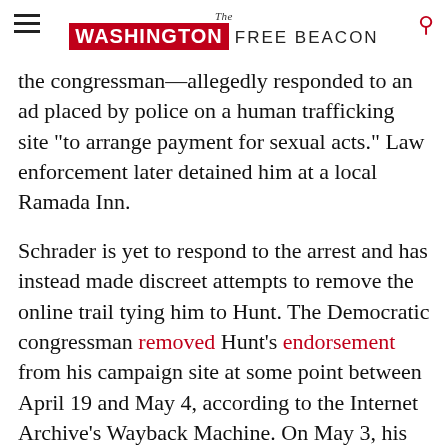The Washington Free Beacon
the congressman—allegedly responded to an ad placed by police on a human trafficking site "to arrange payment for sexual acts." Law enforcement later detained him at a local Ramada Inn.
Schrader is yet to respond to the arrest and has instead made discreet attempts to remove the online trail tying him to Hunt. The Democratic congressman removed Hunt's endorsement from his campaign site at some point between April 19 and May 4, according to the Internet Archive's Wayback Machine. On May 3, his campaign's Twitter account deleted a year-old tweet thanking Hunt "for the endorsement and